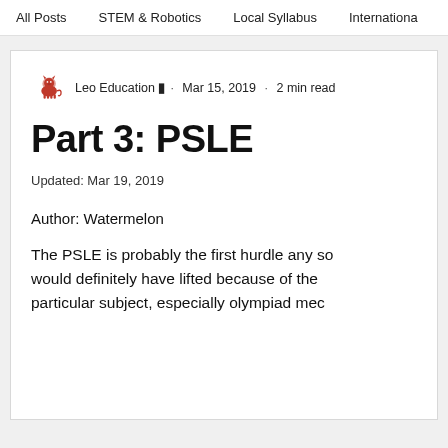All Posts   STEM & Robotics   Local Syllabus   International
Leo Education admin · Mar 15, 2019 · 2 min read
Part 3: PSLE
Updated: Mar 19, 2019
Author: Watermelon
The PSLE is probably the first hurdle any so would definitely have lifted because of the particular subject, especially olympiad mec